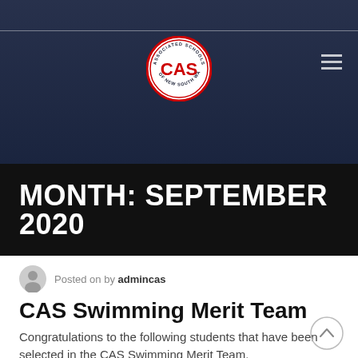[Figure (screenshot): Website header with dark navy background showing a person in the background, CAS (Associated Schools of New South Wales) circular logo in center, and hamburger menu icon top right]
MONTH: SEPTEMBER 2020
Posted on by admincas
CAS Swimming Merit Team
Congratulations to the following students that have been selected in the CAS Swimming Merit Team.